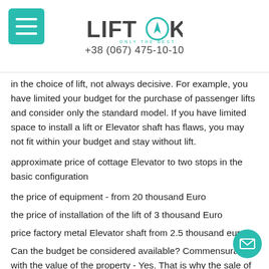LIFT OK | +38 (067) 475-10-10
in the choice of lift, not always decisive. For example, you have limited your budget for the purchase of passenger lifts and consider only the standard model. If you have limited space to install a lift or Elevator shaft has flaws, you may not fit within your budget and stay without lift.
approximate price of cottage Elevator to two stops in the basic configuration
the price of equipment - from 20 thousand Euro
the price of installation of the lift of 3 thousand Euro
price factory metal Elevator shaft from 2.5 thousand euros.
Can the budget be considered available? Commensurate with the value of the property - Yes. That is why the sale of the cottage elevators in Europe thousands of units per year and have a positive trend even in the period of stagnation of the market. Further dynamics of the price of your lift depends on the area...